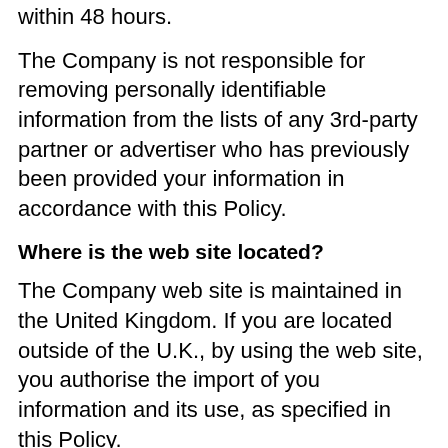within 48 hours.
The Company is not responsible for removing personally identifiable information from the lists of any 3rd-party partner or advertiser who has previously been provided your information in accordance with this Policy.
Where is the web site located?
The Company web site is maintained in the United Kingdom. If you are located outside of the U.K., by using the web site, you authorise the import of you information and its use, as specified in this Policy.
What is the minimum age to use this website
Use of http://www.kingshaulage.co.uk/ and products/services are intended for persons who are eighteen (18) years or older, or Company entities.
If proof comes to the attention of the Company that an